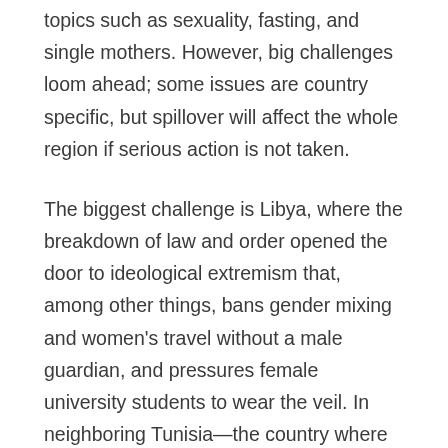topics such as sexuality, fasting, and single mothers. However, big challenges loom ahead; some issues are country specific, but spillover will affect the whole region if serious action is not taken.
The biggest challenge is Libya, where the breakdown of law and order opened the door to ideological extremism that, among other things, bans gender mixing and women's travel without a male guardian, and pressures female university students to wear the veil. In neighboring Tunisia—the country where women's rights are most advanced—discrimination against women in matters of inheritance and the right of husbands to unilaterally